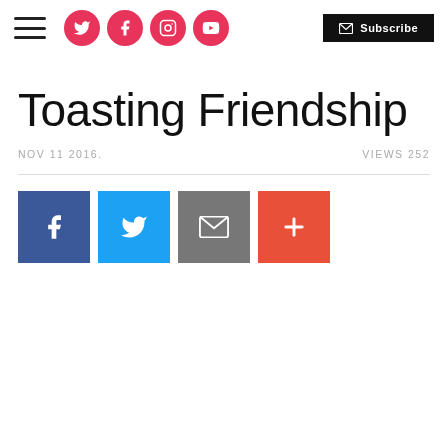Navigation header with hamburger menu, social icons (Twitter, Facebook, Instagram, YouTube), and Subscribe button
Toasting Friendship
NOV 11 2016.   VIEWS 252
[Figure (other): Social share buttons: Facebook (blue), Twitter (light blue), Email (grey), Plus/More (orange-red)]